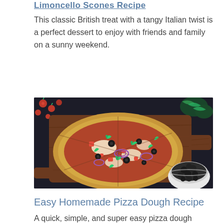…[Limoncello Scones Recipe]…
This classic British treat with a tangy Italian twist is a perfect dessert to enjoy with friends and family on a sunny weekend.
[Figure (photo): A pizza on a wooden cutting board topped with arugula, black olives, red onion, tomatoes, and cheese, surrounded by cherry tomatoes and fresh herbs on a dark background, with a bowl of black olives in the foreground right.]
Easy Homemade Pizza Dough Recipe
A quick, simple, and super easy pizza dough…